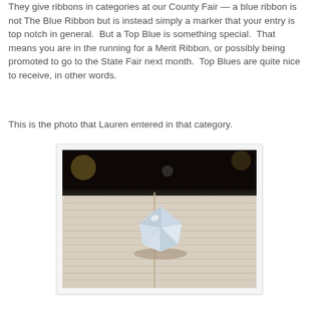They give ribbons in categories at our County Fair — a blue ribbon is not The Blue Ribbon but is instead simply a marker that your entry is top notch in general.  But a Top Blue is something special.  That means you are in the running for a Merit Ribbon, or possibly being promoted to go to the State Fair next month.  Top Blues are quite nice to receive, in other words.
This is the photo that Lauren entered in that category.
[Figure (photo): A close-up photograph of a clear glass or crystal diamond-shaped decorative object resting on an open book with printed text visible on the pages. The background is dark/bokeh.]